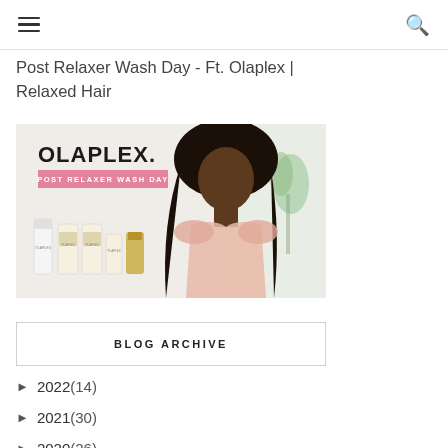Navigation bar with hamburger menu and search icon
Post Relaxer Wash Day - Ft. Olaplex | Relaxed Hair
[Figure (photo): Thumbnail image for Olaplex Post Relaxer Wash Day video/blog post showing a woman with long relaxed hair wearing a pink robe, with Olaplex product bottles in the foreground and the Olaplex logo and 'POST RELAXER WASH DAY' text overlay on the left side.]
BLOG ARCHIVE
► 2022 (14)
► 2021 (30)
► 2020 (26)